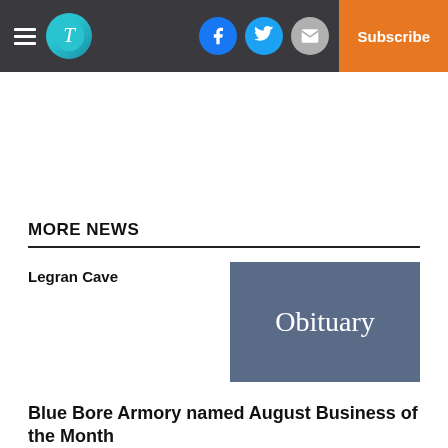MORE NEWS navigation header with logo, social icons (Facebook, Twitter, Email), and Subscribe button
MORE NEWS
Legran Cave
[Figure (illustration): Obituary placeholder image: dark blue-grey rectangle with the word 'Obituary' in white serif text]
Blue Bore Armory named August Business of the Month